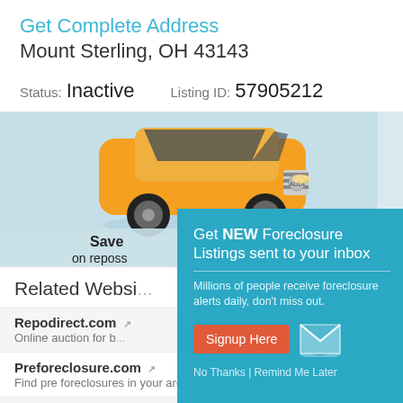Get Complete Address
Mount Sterling, OH 43143
Status: Inactive   Listing ID: 57905212
[Figure (screenshot): Advertisement banner showing an orange Audi car with text 'Save on reposs' and 're' brand logo, partially obscured by popup overlay]
Get NEW Foreclosure Listings sent to your inbox
Millions of people receive foreclosure alerts daily, don't miss out.
Signup Here
No Thanks | Remind Me Later
Related Websi...
Repodirect.com
Online auction for b...
Preforeclosure.com
Find pre foreclosures in your area.
TaxLiens.com